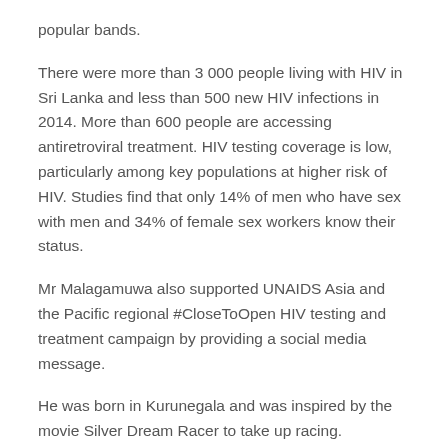popular bands.
There were more than 3 000 people living with HIV in Sri Lanka and less than 500 new HIV infections in 2014. More than 600 people are accessing antiretroviral treatment. HIV testing coverage is low, particularly among key populations at higher risk of HIV. Studies find that only 14% of men who have sex with men and 34% of female sex workers know their status.
Mr Malagamuwa also supported UNAIDS Asia and the Pacific regional #CloseToOpen HIV testing and treatment campaign by providing a social media message.
He was born in Kurunegala and was inspired by the movie Silver Dream Racer to take up racing.
He became the first non-Japanese Asian to compete in